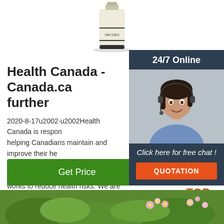[Figure (photo): Partial view of a small bottle/vial with 'Net:10ml' label, product image cropped at top]
[Figure (photo): Sidebar showing 24/7 Online banner with woman wearing headset, customer service representative smiling]
Health Canada - Canada.ca further
2020-8-17u2002·u2002Health Canada is responsible for helping Canadians maintain and improve their health. It ensures that high-quality health services are accessible, works to reduce health risks. We are a federal institution is part of the Health portfolio ...
[Figure (other): Green 'Get Price' button]
[Figure (other): TOP badge with orange dots/triangles above orange TOP text]
[Figure (photo): Bottom image showing green plant leaves and pink flowers]